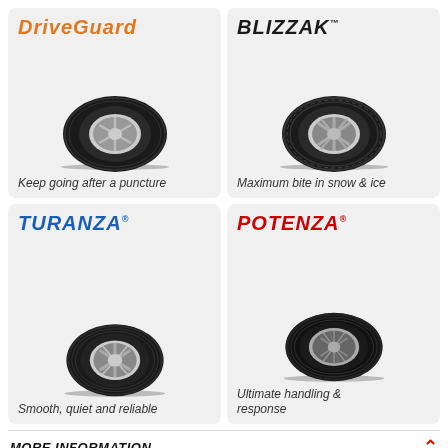[Figure (illustration): DriveGuard tire brand card with orange italic logo and tire image. Caption: Keep going after a puncture]
[Figure (illustration): Blizzak tire brand card with dark bold logo and tire image. Caption: Maximum bite in snow & ice]
[Figure (illustration): Turanza tire brand card with blue bold italic logo and tire image. Caption: Smooth, quiet and reliable]
[Figure (illustration): Potenza tire brand card with red bold logo and tire image. Caption: Ultimate handling & response]
MORE INFORMATION
BRIDGESTONE PASSENGER TIRES IN HURLBURT FIELD,